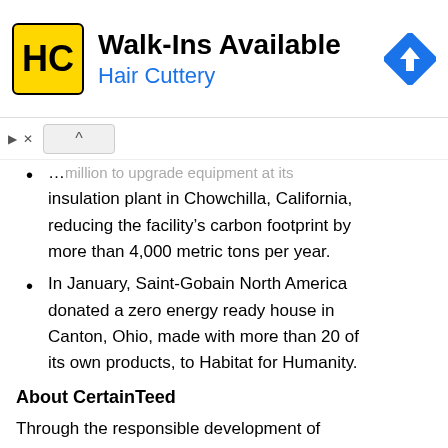[Figure (advertisement): Hair Cuttery advertisement banner with yellow HC logo, text 'Walk-Ins Available' and 'Hair Cuttery' in blue, and a blue navigation/directions icon on the right]
...million to upgrade equipment at its insulation plant in Chowchilla, California, reducing the facility's carbon footprint by more than 4,000 metric tons per year.
In January, Saint-Gobain North America donated a zero energy ready house in Canton, Ohio, made with more than 20 of its own products, to Habitat for Humanity.
About CertainTeed
Through the responsible development of innovative and sustainable building products, CertainTeed, headquartered in Malvern,